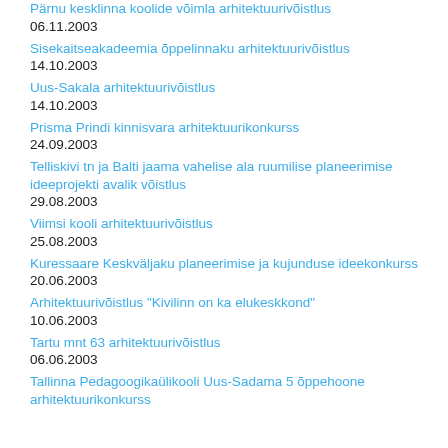Pärnu kesklinna koolide võimla arhitektuurivõistlus
06.11.2003
Sisekaitseakadeemia õppelinnaku arhitektuurivõistlus
14.10.2003
Uus-Sakala arhitektuurivõistlus
14.10.2003
Prisma Prindi kinnisvara arhitektuurikonkurss
24.09.2003
Telliskivi tn ja Balti jaama vahelise ala ruumilise planeerimise ideeprojekti avalik võistlus
29.08.2003
Viimsi kooli arhitektuurivõistlus
25.08.2003
Kuressaare Keskväljaku planeerimise ja kujunduse ideekonkurss
20.06.2003
Arhitektuurivõistlus "Kivilinn on ka elukeskkond"
10.06.2003
Tartu mnt 63 arhitektuurivõistlus
06.06.2003
Tallinna Pedagoogikaülikooli Uus-Sadama 5 õppehoone arhitektuurikonkurss